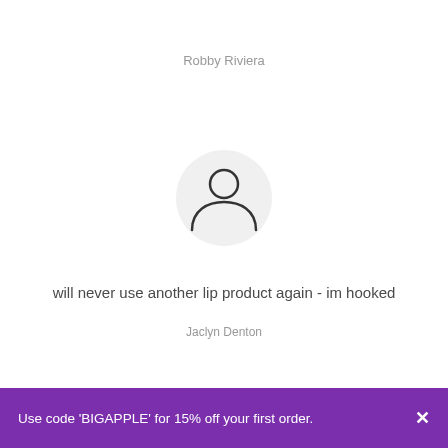Robby Riviera
[Figure (illustration): Generic user avatar icon: circular light gray background with a stylized person silhouette (head circle and shoulders) drawn in dark outline]
will never use another lip product again - im hooked
Jaclyn Denton
Use code 'BIGAPPLE' for 15% off your first order.